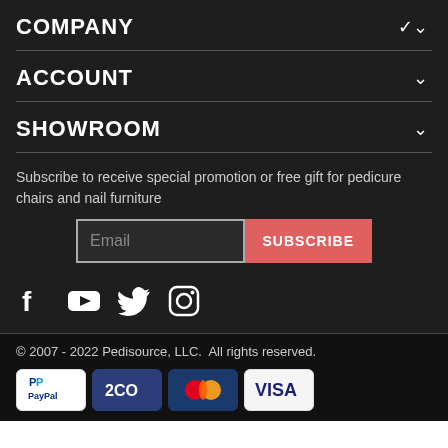COMPANY
ACCOUNT
SHOWROOM
Subscribe to receive special promotion or free gift for pedicure chairs and nail furniture
Email | SUBSCRIBE
[Figure (infographic): Social media icons: Facebook, YouTube, Twitter, Instagram]
© 2007 - 2022 Pedisource, LLC.  All rights reserved.
[Figure (infographic): Payment method icons: PayPal, 2CO, MasterCard, Visa]